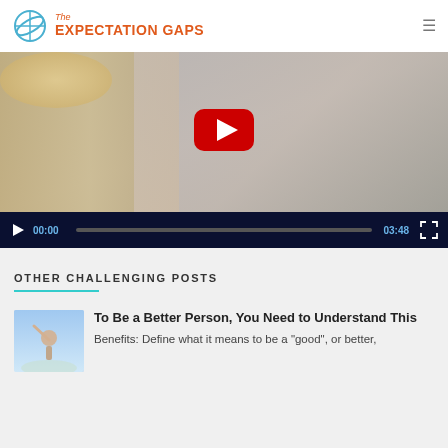The EXPECTATION GAPS
[Figure (screenshot): Video player showing a woman smiling in front of a lamp, with YouTube play button overlay. Controls show 00:00 current time and 03:48 duration.]
OTHER CHALLENGING POSTS
[Figure (photo): Small thumbnail image of a person reaching upward against a blue sky]
To Be a Better Person, You Need to Understand This
Benefits: Define what it means to be a "good", or better,